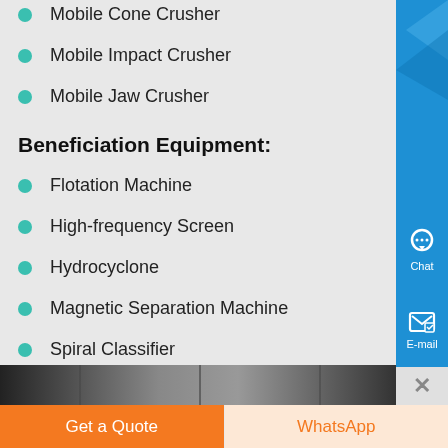Mobile Cone Crusher
Mobile Impact Crusher
Mobile Jaw Crusher
Beneficiation Equipment:
Flotation Machine
High-frequency Screen
Hydrocyclone
Magnetic Separation Machine
Spiral Classifier
Technical Support:
[Figure (photo): Industrial equipment photo strip at bottom of page]
Get a Quote
WhatsApp